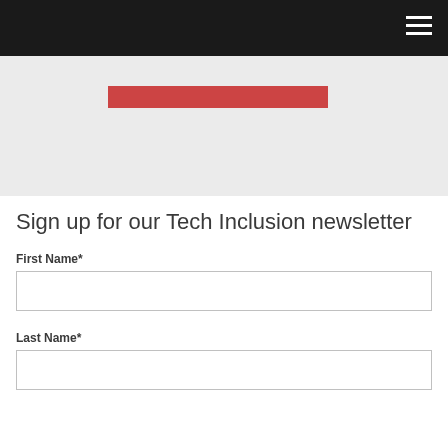[Figure (illustration): Red horizontal banner/bar on a light grey background section]
Sign up for our Tech Inclusion newsletter
First Name*
Last Name*